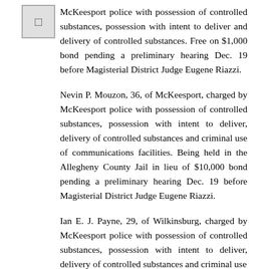McKeesport police with possession of controlled substances, possession with intent to deliver and delivery of controlled substances. Free on $1,000 bond pending a preliminary hearing Dec. 19 before Magisterial District Judge Eugene Riazzi.
Nevin P. Mouzon, 36, of McKeesport, charged by McKeesport police with possession of controlled substances, possession with intent to deliver, delivery of controlled substances and criminal use of communications facilities. Being held in the Allegheny County Jail in lieu of $10,000 bond pending a preliminary hearing Dec. 19 before Magisterial District Judge Eugene Riazzi.
Ian E. J. Payne, 29, of Wilkinsburg, charged by McKeesport police with possession of controlled substances, possession with intent to deliver, delivery of controlled substances and criminal use